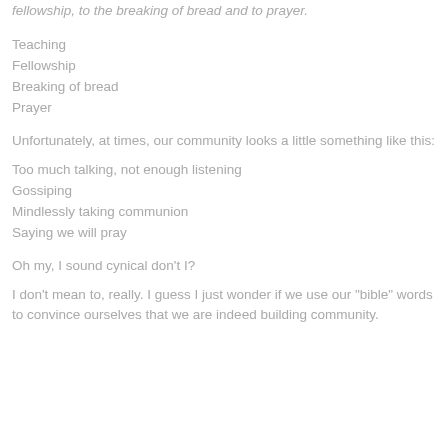fellowship, to the breaking of bread and to prayer.
Teaching
Fellowship
Breaking of bread
Prayer
Unfortunately, at times, our community looks a little something like this:
Too much talking, not enough listening
Gossiping
Mindlessly taking communion
Saying we will pray
Oh my, I sound cynical don't I?
I don't mean to, really. I guess I just wonder if we use our "bible" words to convince ourselves that we are indeed building community.